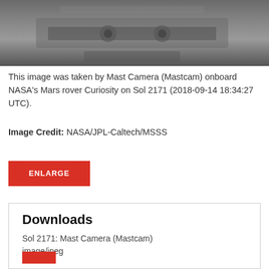[Figure (photo): Grayscale close-up photograph of mechanical equipment taken by NASA Mars rover Curiosity Mast Camera on Sol 2171]
This image was taken by Mast Camera (Mastcam) onboard NASA's Mars rover Curiosity on Sol 2171 (2018-09-14 18:34:27 UTC).
Image Credit: NASA/JPL-Caltech/MSSS
ENLARGE
Downloads
Sol 2171: Mast Camera (Mastcam)
image/jpeg